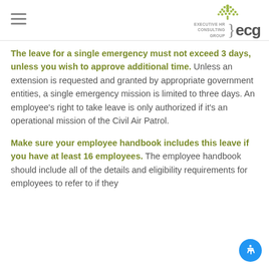Executive HR Consulting Group (ECG) logo
The leave for a single emergency must not exceed 3 days, unless you wish to approve additional time. Unless an extension is requested and granted by appropriate government entities, a single emergency mission is limited to three days. An employee's right to take leave is only authorized if it's an operational mission of the Civil Air Patrol.
Make sure your employee handbook includes this leave if you have at least 16 employees. The employee handbook should include all of the details and eligibility requirements for employees to refer to if they